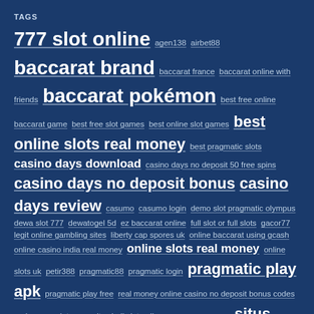TAGS
777 slot online agen138 airbet88 baccarat brand baccarat france baccarat online with friends baccarat pokémon best free online baccarat game best free slot games best online slot games best online slots real money best pragmatic slots casino days download casino days no deposit 50 free spins casino days no deposit bonus casino days review casumo casumo login demo slot pragmatic olympus dewa slot 777 dewatogel 5d ez baccarat online full slot or full slots gacor77 legit online gambling sites liberty cap spores uk online baccarat using gcash online casino india real money online slots real money online slots uk petir388 pragmatic88 pragmatic login pragmatic play apk pragmatic play free real money online casino no deposit bonus codes real money slots app situs judi slot online gampang menang situs judi slot terbaik